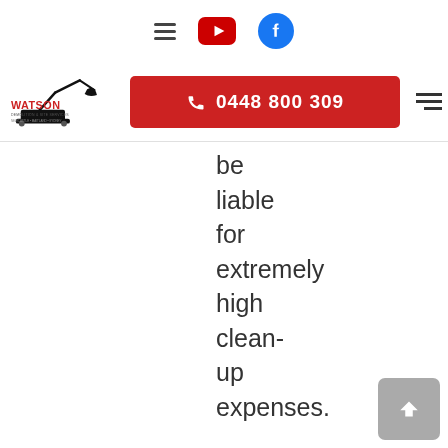Navigation icons: hamburger menu, YouTube, Facebook
[Figure (logo): Watson Demolition & Site Services logo with excavator graphic]
0448 800 309
be liable for extremely high clean-up expenses.

Before you begin

If